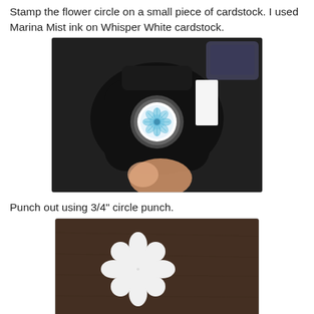Stamp the flower circle on a small piece of cardstock. I used Marina Mist ink on Whisper White cardstock.
[Figure (photo): A hand holding a black rubber stamp with a circular flower pattern stamped in blue ink on white cardstock, viewed from below. An ink pad is visible in the background on a dark surface.]
Punch out using 3/4" circle punch.
[Figure (photo): A white flower-shaped piece of cardstock punched out with scalloped edges, placed on a dark brown leather-textured surface.]